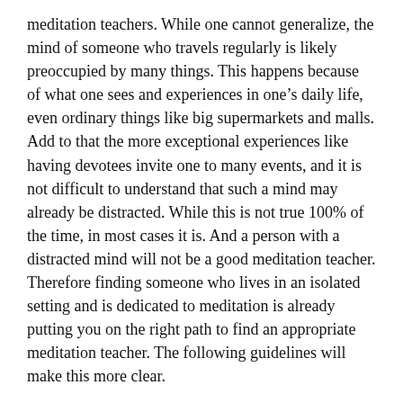meditation teachers. While one cannot generalize, the mind of someone who travels regularly is likely preoccupied by many things. This happens because of what one sees and experiences in one’s daily life, even ordinary things like big supermarkets and malls. Add to that the more exceptional experiences like having devotees invite one to many events, and it is not difficult to understand that such a mind may already be distracted. While this is not true 100% of the time, in most cases it is. And a person with a distracted mind will not be a good meditation teacher. Therefore finding someone who lives in an isolated setting and is dedicated to meditation is already putting you on the right path to find an appropriate meditation teacher. The following guidelines will make this more clear.
Four kinds of teachers
When you set out to examine a teacher, you will see that there are four kinds. These four kinds of teachers can be